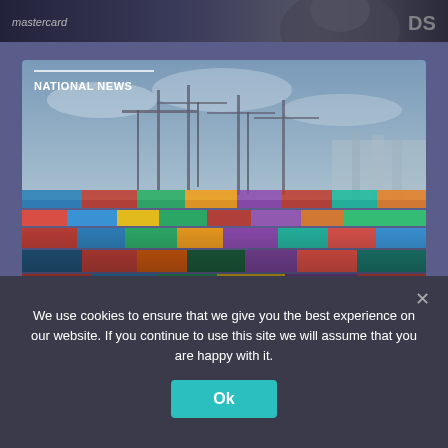[Figure (photo): Top strip showing partial photo with mastercard text on left and 'DS' letters on right, dark background with person's face partially visible]
[Figure (photo): Aerial photo of a large port/container terminal (UK's biggest port) with colourful shipping containers stacked in rows and large cranes in background against cloudy sky]
NATIONAL NEWS
Eight days of strike action commences at UKs biggest port
We use cookies to ensure that we give you the best experience on our website. If you continue to use this site we will assume that you are happy with it.